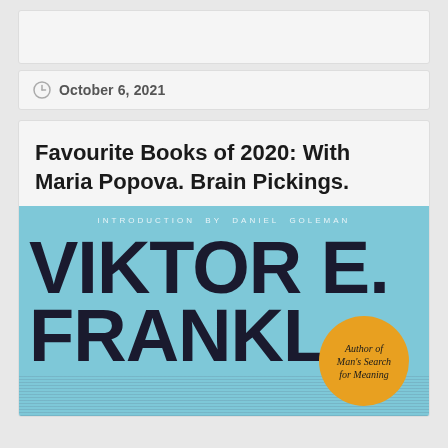October 6, 2021
Favourite Books of 2020: With Maria Popova. Brain Pickings.
[Figure (photo): Book cover of Viktor E. Frankl with light blue background, large bold author name text, introduction by Daniel Goleman, and a gold circular badge reading 'Author of Man's Search for Meaning']